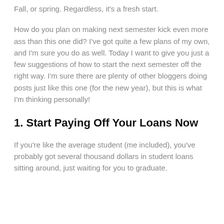Fall, or spring. Regardless, it's a fresh start.
How do you plan on making next semester kick even more ass than this one did? I've got quite a few plans of my own, and I'm sure you do as well. Today I want to give you just a few suggestions of how to start the next semester off the right way. I'm sure there are plenty of other bloggers doing posts just like this one (for the new year), but this is what I'm thinking personally!
1. Start Paying Off Your Loans Now
If you're like the average student (me included), you've probably got several thousand dollars in student loans sitting around, just waiting for you to graduate.